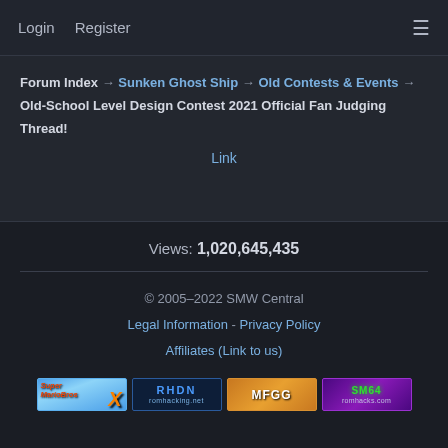Login  Register  ☰
Forum Index → Sunken Ghost Ship → Old Contests & Events → Old-School Level Design Contest 2021 Official Fan Judging Thread!
Link
Views: 1,020,645,435
© 2005-2022 SMW Central
Legal Information - Privacy Policy
Affiliates (Link to us)
[Figure (logo): Four affiliate banner logos: Super Mario Bros X, RHDN romhacking.net, MFGG, SM64 romhacks.com]